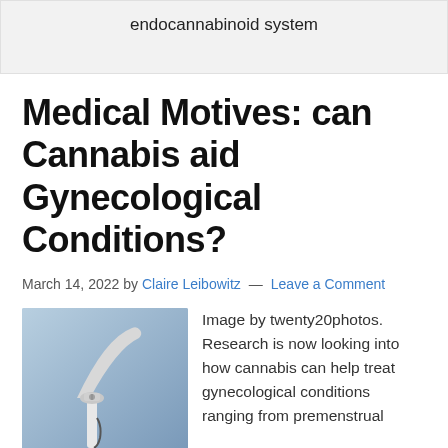endocannabinoid system
Medical Motives: can Cannabis aid Gynecological Conditions?
March 14, 2022 by Claire Leibowitz — Leave a Comment
[Figure (photo): Medical gynecological instrument (speculum or similar) against a blue background. Image by twenty20photos.]
Image by twenty20photos. Research is now looking into how cannabis can help treat gynecological conditions ranging from premenstrual